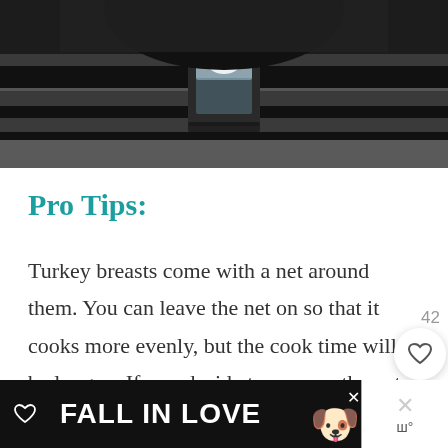[Figure (photo): Close-up photo of a dark metallic surface with a glass/crystal decorative element in the center, appearing to be a belt or bar mechanism.]
Pro Tips:
Turkey breasts come with a net around them. You can leave the net on so that it cooks more evenly, but the cook time will be longer. If you decide to remove the net, your cook time will vary depending on how even the pieces are.
[Figure (screenshot): Advertisement banner at the bottom of the page with text FALL IN LOVE and a dog image]